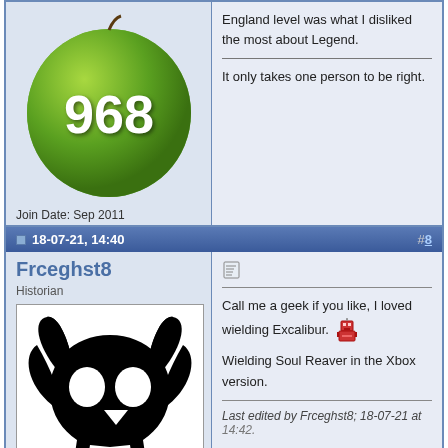[Figure (screenshot): Forum post thread showing two posts. First post shows a green apple avatar with '968', user info (Join Date Sep 2011, Location Barkhang Monastery, Posts 11,581), and post content about England level and Legend. Second post shows username Frceghst8 (Historian) with skull avatar, Join Date Jul 2021, and content about wielding Excalibur and Soul Reaver.]